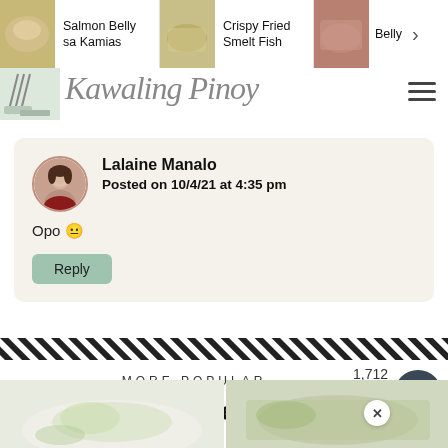Salmon Belly sa Kamias | Crispy Fried Smelt Fish | Belly
[Figure (screenshot): Logo banner with cursive script text]
Lalaine Manalo
Posted on 10/4/21 at 4:35 pm
Opo 🙂
Reply
1,712
MORE POPULAR
Fish And Seafood
[Figure (photo): Two food photos at bottom of page]